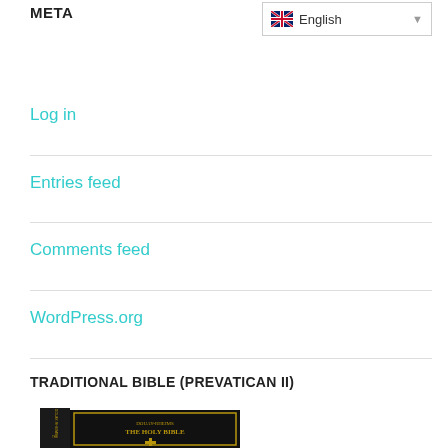META
Log in
Entries feed
Comments feed
WordPress.org
TRADITIONAL BIBLE (PREVATICAN II)
[Figure (photo): Black hardcover Douay-Rheims The Holy Bible book with gold lettering and cross emblem]